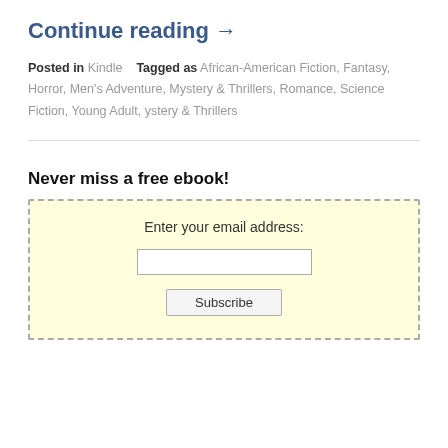Continue reading →
Posted in Kindle   Tagged as African-American Fiction, Fantasy, Horror, Men's Adventure, Mystery & Thrillers, Romance, Science Fiction, Young Adult, ystery & Thrillers
Never miss a free ebook!
Enter your email address: [email input] [Subscribe button]